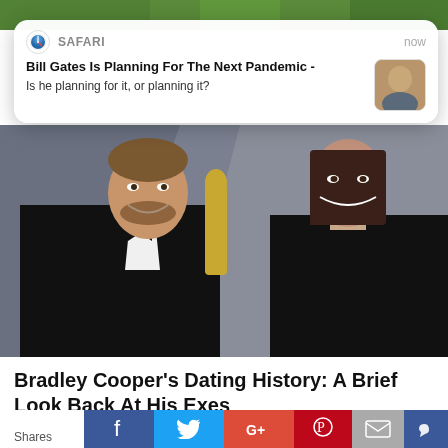[Figure (photo): Green foliage background photo strip at top of page]
[Figure (screenshot): Safari browser push notification popup showing headline: Bill Gates Is Planning For The Next Pandemic - Is he planning for it, or planning it? with a small thumbnail of Bill Gates]
[Figure (photo): Photo of Bradley Cooper in a tuxedo with bow tie and a woman with dark hair in a black turtleneck, both smiling, at what appears to be a red carpet event]
Bradley Cooper's Dating History: A Brief Look Back At His Exes
TRAITSLAB
[Figure (screenshot): Bottom portion showing a second photo strip and social sharing buttons: Facebook, Twitter, Google+, Pinterest, Email, and another social icon with a Shares label]
Shares